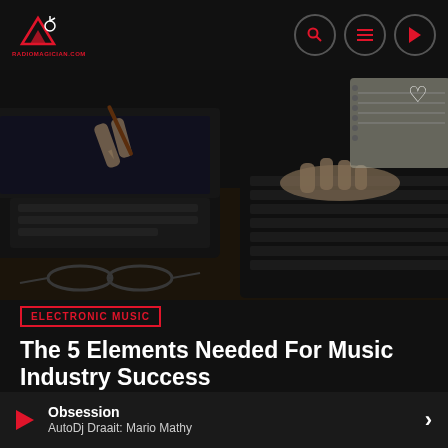radiomagician.com
[Figure (photo): Close-up photo of hands typing on a laptop keyboard and calculator on a desk, with glasses, notebook and pen visible in background. Dark moody lighting.]
ELECTRONIC MUSIC
The 5 Elements Needed For Music Industry Success
You are about to learn the five critical elements that have fueled
Obsession
AutoDj Draait: Mario Mathy